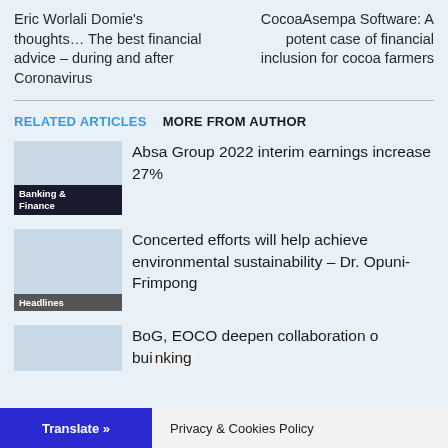Eric Worlali Domie's thoughts… The best financial advice – during and after Coronavirus
CocoaAsempa Software: A potent case of financial inclusion for cocoa farmers
RELATED ARTICLES   MORE FROM AUTHOR
[Figure (photo): Thumbnail image with Banking & Finance tag]
Absa Group 2022 interim earnings increase 27%
[Figure (photo): Thumbnail image with Headlines tag]
Concerted efforts will help achieve environmental sustainability – Dr. Opuni-Frimpong
[Figure (photo): Thumbnail image for third article]
BoG, EOCO deepen collaboration to build anti-money laundering banking
Translate »
Privacy & Cookies Policy